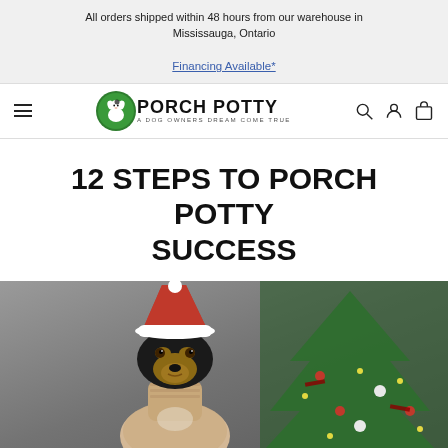All orders shipped within 48 hours from our warehouse in Mississauga, Ontario
Financing Available*
[Figure (logo): Porch Potty logo — cartoon dog in green circle with text 'PORCH POTTY' and tagline 'A Dog Owners Dream Come True']
12 STEPS TO PORCH POTTY SUCCESS
[Figure (photo): A dachshund dog wearing a Santa hat and cream-colored turtleneck sweater, sitting in front of a decorated Christmas tree with ornaments and lights]